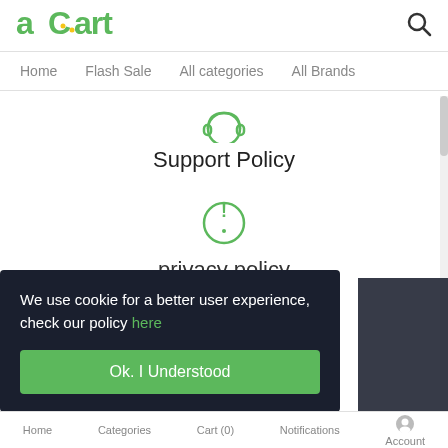aCart (logo) + Search icon
Home | Flash Sale | All categories | All Brands
[Figure (illustration): Green steering wheel / headset icon for Support Policy]
Support Policy
[Figure (illustration): Green circle with exclamation mark icon for privacy policy]
privacy policy
We use cookie for a better user experience, check our policy here
Ok. I Understood
Home  Categories  Cart (0)  Notifications  Account